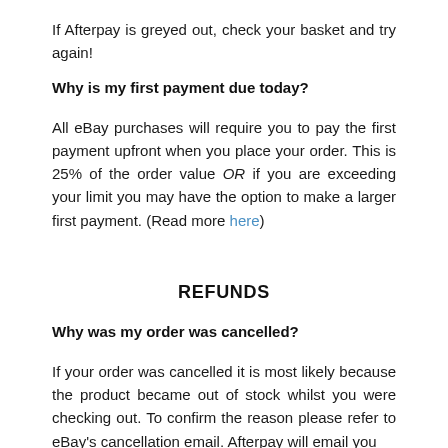If Afterpay is greyed out, check your basket and try again!
Why is my first payment due today?
All eBay purchases will require you to pay the first payment upfront when you place your order. This is 25% of the order value OR if you are exceeding your limit you may have the option to make a larger first payment. (Read more here)
REFUNDS
Why was my order was cancelled?
If your order was cancelled it is most likely because the product became out of stock whilst you were checking out. To confirm the reason please refer to eBay's cancellation email. Afterpay will email you